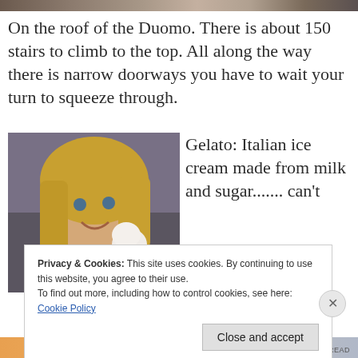[Figure (photo): Partial view of a photo at the top of the page, showing a crowd scene]
On the roof of the Duomo. There is about 150 stairs to climb to the top. All along the way there is narrow doorways you have to wait your turn to squeeze through.
[Figure (photo): Woman smiling at camera holding a gelato ice cream cone, in a crowded street setting]
Gelato: Italian ice cream made from milk and sugar........ can't
Privacy & Cookies: This site uses cookies. By continuing to use this website, you agree to their use.
To find out more, including how to control cookies, see here:
Cookie Policy
Close and accept